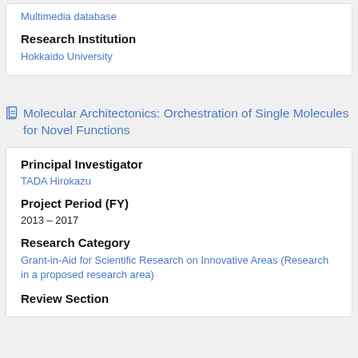Multimedia database
Research Institution
Hokkaido University
Molecular Architectonics: Orchestration of Single Molecules for Novel Functions
Principal Investigator
TADA Hirokazu
Project Period (FY)
2013 – 2017
Research Category
Grant-in-Aid for Scientific Research on Innovative Areas (Research in a proposed research area)
Review Section